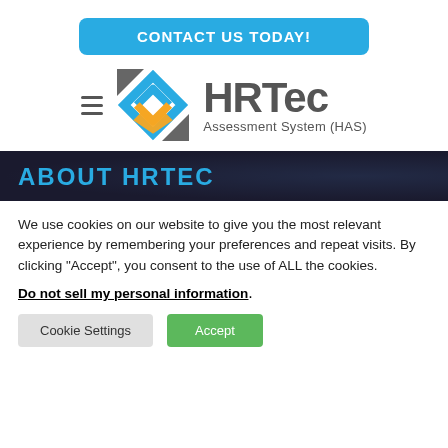[Figure (logo): CONTACT US TODAY! button in blue]
[Figure (logo): HRTec Assessment System (HAS) logo with diamond-shaped icon in blue/orange/gray and hamburger menu icon]
ABOUT HRTEC
We use cookies on our website to give you the most relevant experience by remembering your preferences and repeat visits. By clicking “Accept”, you consent to the use of ALL the cookies.
Do not sell my personal information.
Cookie Settings   Accept